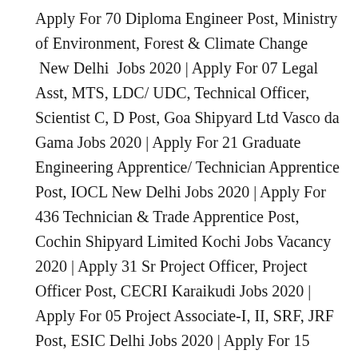Apply For 70 Diploma Engineer Post, Ministry of Environment, Forest & Climate Change  New Delhi  Jobs 2020 | Apply For 07 Legal Asst, MTS, LDC/ UDC, Technical Officer, Scientist C, D Post, Goa Shipyard Ltd Vasco da Gama Jobs 2020 | Apply For 21 Graduate Engineering Apprentice/ Technician Apprentice Post, IOCL New Delhi Jobs 2020 | Apply For 436 Technician & Trade Apprentice Post, Cochin Shipyard Limited Kochi Jobs Vacancy 2020 | Apply 31 Sr Project Officer, Project Officer Post, CECRI Karaikudi Jobs 2020 | Apply For 05 Project Associate-I, II, SRF, JRF Post, ESIC Delhi Jobs 2020 | Apply For 15 Specialist Gr II (Jr Grade) Post, India SBI Jobs Recruitment 2020 | Apply For 8500 Apprentice Post, BCKY Nadia